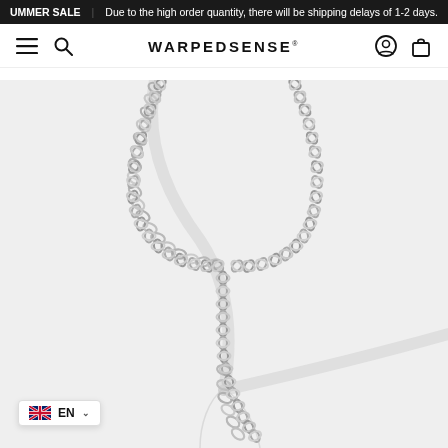UMMER SALE | Due to the high order quantity, there will be shipping delays of 1-2 days.
WARPEDSENSE®
[Figure (photo): A silver curb chain necklace displayed against a light gray background, showing the chain in a U-shape with both ends going up and out of frame.]
EN